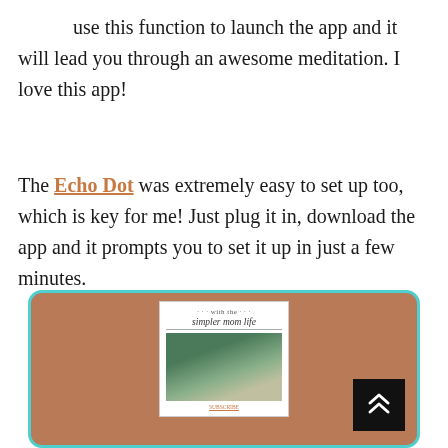use this function to launch the app and it will lead you through an awesome meditation. I love this app!
The Echo Dot was extremely easy to set up too, which is key for me! Just plug it in, download the app and it prompts you to set it up in just a few minutes.
[Figure (illustration): A tan/brown rounded rectangle card with a teal border containing a magazine cover for 'simpler mom life' with a photo of green circular items, centered on a brown background. A black scroll-to-top button with double chevron is in the bottom right.]